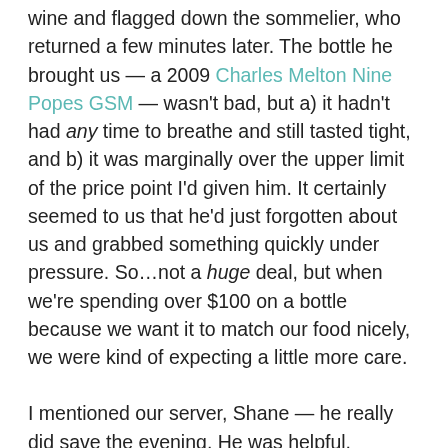wine and flagged down the sommelier, who returned a few minutes later. The bottle he brought us — a 2009 Charles Melton Nine Popes GSM — wasn't bad, but a) it hadn't had any time to breathe and still tasted tight, and b) it was marginally over the upper limit of the price point I'd given him. It certainly seemed to us that he'd just forgotten about us and grabbed something quickly under pressure. So…not a huge deal, but when we're spending over $100 on a bottle because we want it to match our food nicely, we were kind of expecting a little more care.
I mentioned our server, Shane — he really did save the evening. He was helpful, attentive, funny and apologetic when he noticed the sommelier's oversight. Moreover, he quickly appeared with a decanter so our wine could open up faster. He gave us whisky suggestions at the end of the evening,